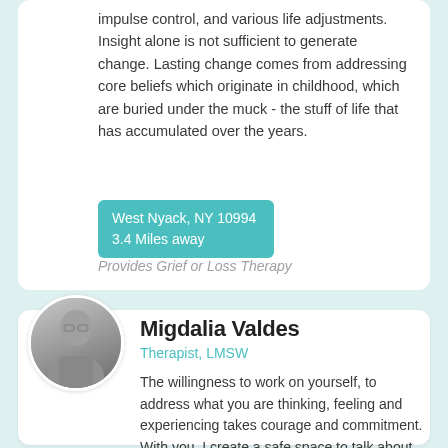impulse control, and various life adjustments. Insight alone is not sufficient to generate change. Lasting change comes from addressing core beliefs which originate in childhood, which are buried under the muck - the stuff of life that has accumulated over the years.
West Nyack, NY 10994
3.4 Miles away
Provides Grief or Loss Therapy
[Figure (photo): Circular portrait photo of Migdalia Valdes, a therapist, shown in grayscale]
Migdalia Valdes
Therapist, LMSW
The willingness to work on yourself, to address what you are thinking, feeling and experiencing takes courage and commitment. With you, I create a safe space to talk about and work on whatever you wish. You will find that I am genuine, open